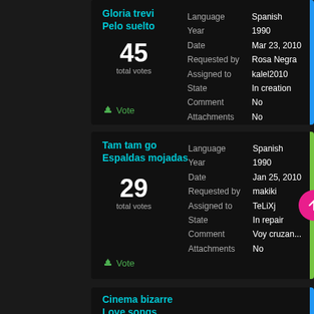Gloria trevi
Pelo suelto
45 total votes
Language: Spanish
Year: 1990
Date: Mar 23, 2010
Requested by: Rosa Negra
Assigned to: kalel2010
State: In creation
Comment: No
Attachments: No
Vote
Tam tam go
Espaldas mojadas
29 total votes
Language: Spanish
Year: 1990
Date: Jan 25, 2010
Requested by: makiki
Assigned to: TeLiXj
State: In repair
Comment: Voy cruzan...
Attachments: No
Vote
Cinema bizarre
Love songs
Language: English